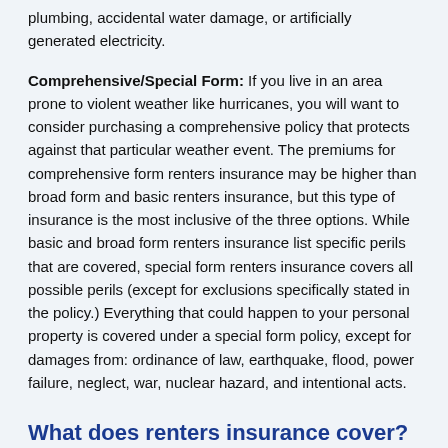plumbing, accidental water damage, or artificially generated electricity.
Comprehensive/Special Form: If you live in an area prone to violent weather like hurricanes, you will want to consider purchasing a comprehensive policy that protects against that particular weather event. The premiums for comprehensive form renters insurance may be higher than broad form and basic renters insurance, but this type of insurance is the most inclusive of the three options. While basic and broad form renters insurance list specific perils that are covered, special form renters insurance covers all possible perils (except for exclusions specifically stated in the policy.) Everything that could happen to your personal property is covered under a special form policy, except for damages from: ordinance of law, earthquake, flood, power failure, neglect, war, nuclear hazard, and intentional acts.
What does renters insurance cover?
Renters insurance can help protect your furniture, clothing, and other personal belongings. In the case where you may not be able to live in your rental property, renters insurance can also provide you with reimbursement for other living expenses like a hotel stay, and it can also help you pay for damages incurred to your property's